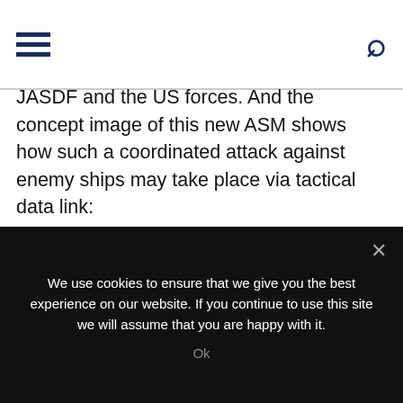[hamburger menu] [search icon]
JASDF and the US forces. And the concept image of this new ASM shows how such a coordinated attack against enemy ships may take place via tactical data link:
[Figure (infographic): Japanese concept diagram titled 運用構想図（イメージ）showing a coordinated attack scenario with aircraft, tactical datalink (rainbow-colored ring), red and green attack vectors, enemy ships label, and multiple smaller aircraft/missiles on the left side. Label '別紙' in top right.]
We use cookies to ensure that we give you the best experience on our website. If you continue to use this site we will assume that you are happy with it.
Ok